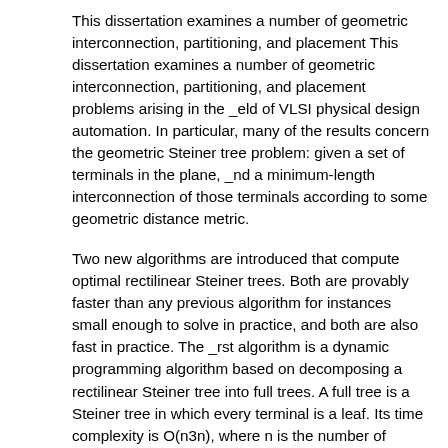This dissertation examines a number of geometric interconnection, partitioning, and placement This dissertation examines a number of geometric interconnection, partitioning, and placement problems arising in the _eld of VLSI physical design automation. In particular, many of the results concern the geometric Steiner tree problem: given a set of terminals in the plane, _nd a minimum-length interconnection of those terminals according to some geometric distance metric.
Two new algorithms are introduced that compute optimal rectilinear Steiner trees. Both are provably faster than any previous algorithm for instances small enough to solve in practice, and both are also fast in practice. The _rst algorithm is a dynamic programming algorithm based on decomposing a rectilinear Steiner tree into full trees. A full tree is a Steiner tree in which every terminal is a leaf. Its time complexity is O(n3n), where n is the number of terminals. The second algorithm modi_es the _rst by the use of full-set screening, which is a process by which some candidate full trees are eliminated from consideration. Its time complexity is approximately O(n22:62n). We demonstrate that for instances small enough to reasonably